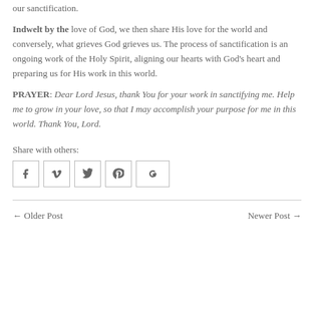our sanctification.
Indwelt by the love of God, we then share His love for the world and conversely, what grieves God grieves us. The process of sanctification is an ongoing work of the Holy Spirit, aligning our hearts with God's heart and preparing us for His work in this world.
PRAYER: Dear Lord Jesus, thank You for your work in sanctifying me. Help me to grow in your love, so that I may accomplish your purpose for me in this world. Thank You, Lord.
Share with others:
[Figure (other): Social share buttons: Facebook, Vimeo, Twitter, Pinterest, Google+]
← Older Post
Newer Post →